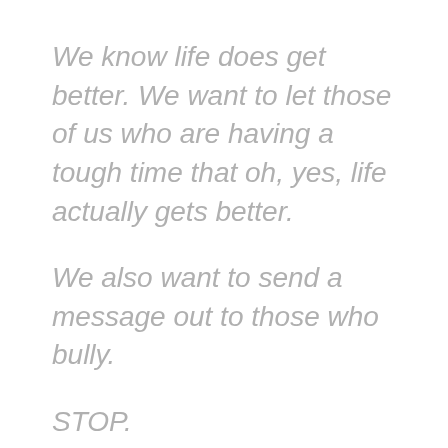We know life does get better. We want to let those of us who are having a tough time that oh, yes, life actually gets better.
We also want to send a message out to those who bully.
STOP.
This has gone on long enough. We will not go away because of you. We will not stand down because of